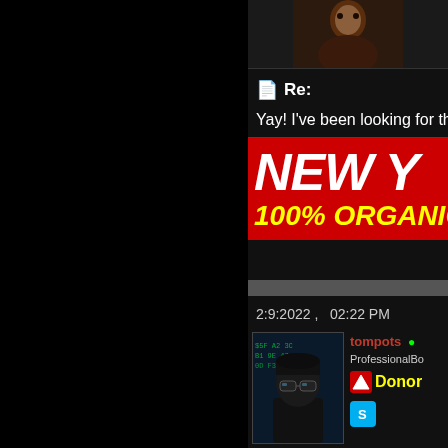[Figure (photo): Partial avatar image at top, dark silhouette figure]
Re:
Yay! I've been looking for the t
[Figure (infographic): Red advertisement banner with white text NEW Y and yellow text 100% ORGANIC]
2:9:2022 ,   02:22 PM
[Figure (photo): User avatar: person in black clothing with sunglasses against digital matrix background]
tompots
ProfessionalBo
Donor